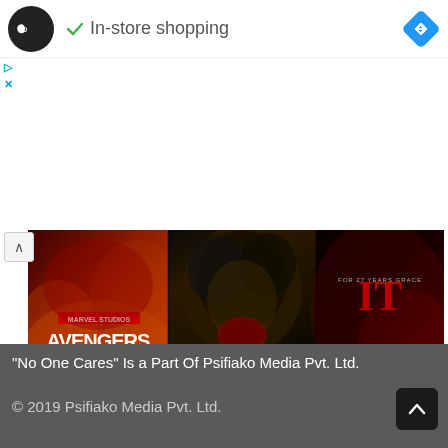[Figure (screenshot): Ad banner with logo circle (infinity symbol), green checkmark and 'In-store shopping' text, blue navigation diamond icon on right]
[Figure (photo): Movie banner collage showing Avengers 4, The Lion King (Disney), and IT Chapter II movie posters]
40+ Most Anticipated Upcoming Movies Of 2019
"No One Cares" Is a Part Of Psifiako Media Pvt. Ltd.
© 2019 Psifiako Media Pvt. Ltd.